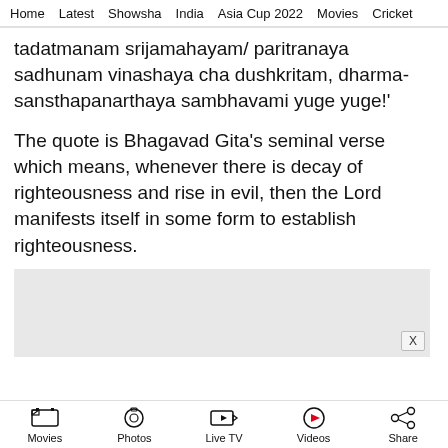Home  Latest  Showsha  India  Asia Cup 2022  Movies  Cricket
tadatmanam srijamahayam/ paritranaya sadhunam vinashaya cha dushkritam, dharma-sansthapanarthaya sambhavami yuge yuge!'
The quote is Bhagavad Gita's seminal verse which means, whenever there is decay of righteousness and rise in evil, then the Lord manifests itself in some form to establish righteousness.
[Figure (other): Advertisement placeholder box with close button X]
Movies  Photos  Live TV  Videos  Share